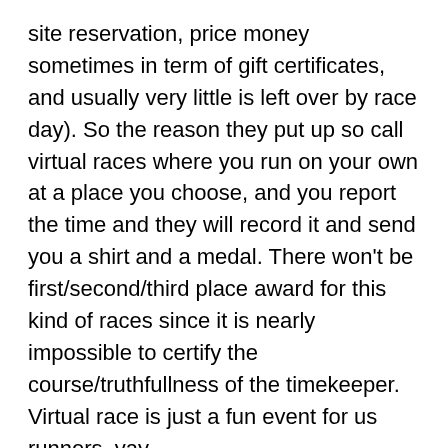site reservation, price money sometimes in term of gift certificates, and usually very little is left over by race day). So the reason they put up so call virtual races where you run on your own at a place you choose, and you report the time and they will record it and send you a shirt and a medal. There won't be first/second/third place award for this kind of races since it is nearly impossible to certify the course/truthfullness of the timekeeper. Virtual race is just a fun event for us runners, yay.
However, some people recognize the truth and think it is a scam and raise hell to the race director (my Shipyard Marathon was like that, 9/10 of people were unhappy about doing a